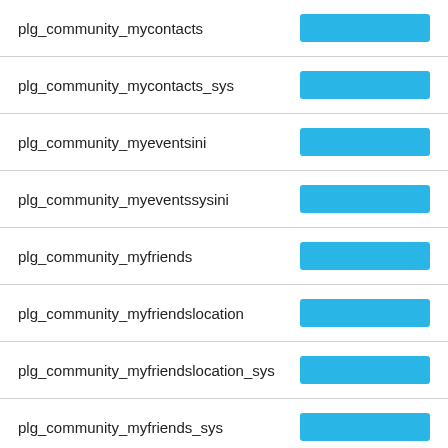plg_community_mycontacts
plg_community_mycontacts_sys
plg_community_myeventsini
plg_community_myeventssysini
plg_community_myfriends
plg_community_myfriendslocation
plg_community_myfriendslocation_sys
plg_community_myfriends_sys
plg_community_mygoogleads
plg_community_mygoogleads_sys
plg_community_mygroups